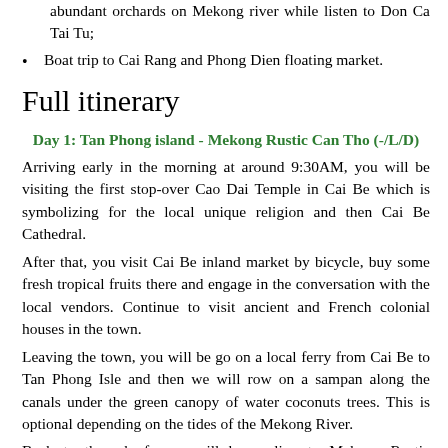abundant orchards on Mekong river while listen to Don Ca Tai Tu;
Boat trip to Cai Rang and Phong Dien floating market.
Full itinerary
Day 1: Tan Phong island - Mekong Rustic Can Tho (-/L/D)
Arriving early in the morning at around 9:30AM, you will be visiting the first stop-over Cao Dai Temple in Cai Be which is symbolizing for the local unique religion and then Cai Be Cathedral.
After that, you visit Cai Be inland market by bicycle, buy some fresh tropical fruits there and engage in the conversation with the local vendors. Continue to visit ancient and French colonial houses in the town.
Leaving the town, you will be go on a local ferry from Cai Be to Tan Phong Isle and then we will row on a sampan along the canals under the green canopy of water coconuts trees. This is optional depending on the tides of the Mekong River.
Back to the wharf, you will be cycling to Mekong Rustic homestay on Tan Phong isles surrounded by lush tropical fruit gardens. There you